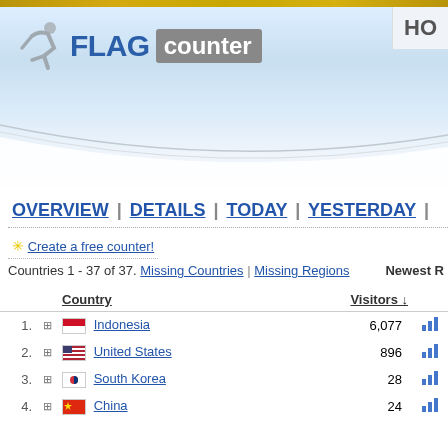[Figure (logo): Flag Counter logo with running figure icon, FLAG in bold blue, counter in gray box]
HO
OVERVIEW | DETAILS | TODAY | YESTERDAY |
✳ Create a free counter!
Countries 1 - 37 of 37. Missing Countries | Missing Regions    Newest R
|  |  | Country | Visitors ↓ |  |
| --- | --- | --- | --- | --- |
| 1. | + | Indonesia | 6,077 |  |
| 2. | + | United States | 896 |  |
| 3. | + | South Korea | 28 |  |
| 4. | + | China | 24 |  |